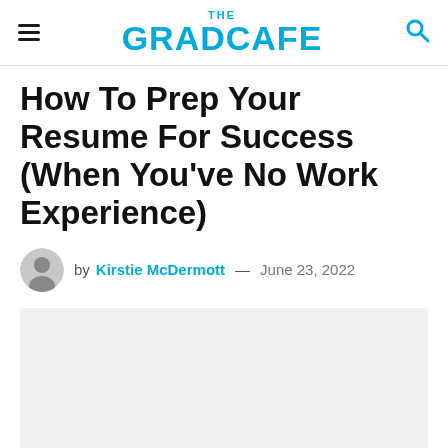THE GRADCAFE
How To Prep Your Resume For Success (When You've No Work Experience)
by Kirstie McDermott — June 23, 2022
[Figure (photo): Featured article image placeholder — light gray rectangle]